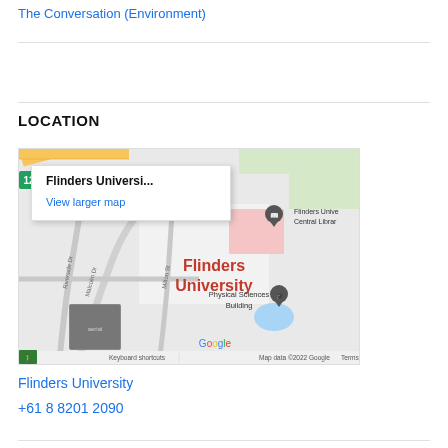The Conversation (Environment)
LOCATION
[Figure (map): Google Maps embed showing Flinders University location with popup 'Flinders Universi...' and 'View larger map' link. Map shows Flinders University campus area with Physical Sciences Building marker, Flinders Unive Central Librar marker, streets including Malcolm Dr, Riverside Dr, Milton St. Map data ©2022 Google.]
Flinders University
+61 8 8201 2090